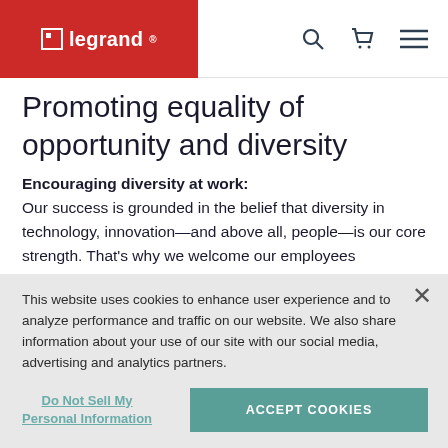legrand
Promoting equality of opportunity and diversity
Encouraging diversity at work:
Our success is grounded in the belief that diversity in technology, innovation—and above all, people—is our core strength. That's why we welcome our employees enthusiasm, imagination, drive, and ingenuity—and give them
This website uses cookies to enhance user experience and to analyze performance and traffic on our website. We also share information about your use of our site with our social media, advertising and analytics partners.
Do Not Sell My Personal Information
ACCEPT COOKIES